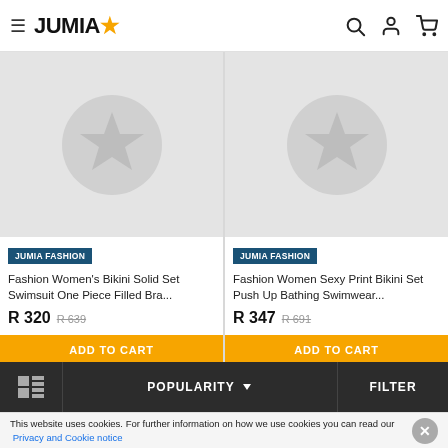JUMIA
[Figure (photo): Product placeholder image with star icon for Fashion Women's Bikini Solid Set Swimsuit One Piece Filled Bra]
JUMIA FASHION
Fashion Women's Bikini Solid Set Swimsuit One Piece Filled Bra...
R 320  R 639
[Figure (photo): Product placeholder image with star icon for Fashion Women Sexy Print Bikini Set Push Up Bathing Swimwear]
JUMIA FASHION
Fashion Women Sexy Print Bikini Set Push Up Bathing Swimwear...
R 347  R 691
POPULARITY  FILTER
This website uses cookies. For further information on how we use cookies you can read our Privacy and Cookie notice